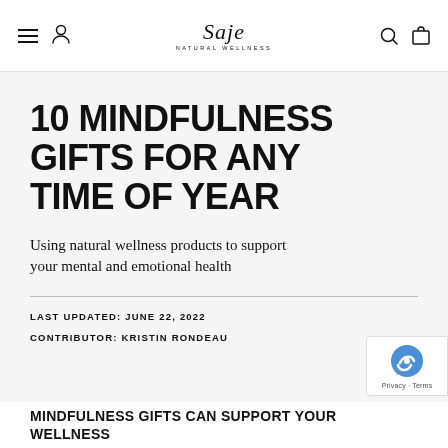Saje Natural Wellness — navigation header with hamburger menu, user icon, logo, search icon, and cart icon
10 MINDFULNESS GIFTS FOR ANY TIME OF YEAR
Using natural wellness products to support your mental and emotional health
LAST UPDATED: JUNE 22, 2022
CONTRIBUTOR: KRISTIN RONDEAU
MINDFULNESS GIFTS CAN SUPPORT YOUR WELLNESS